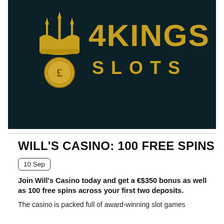[Figure (logo): 4Kings Slots logo — gold crown and trident symbol with a pound/euro coin, text '4KINGS SLOTS' in gold on dark teal/navy background]
WILL'S CASINO: 100 FREE SPINS
10 Sep
Join Will's Casino today and get a €$350 bonus as well as 100 free spins across your first two deposits.
The casino is packed full of award-winning slot games